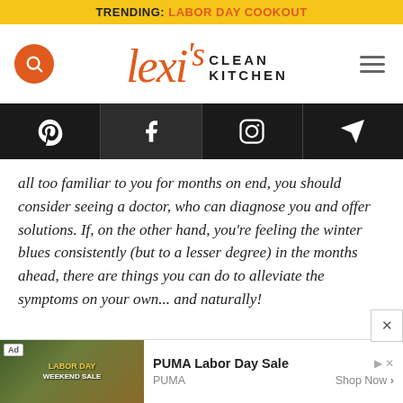TRENDING: LABOR DAY COOKOUT
[Figure (logo): Lexi's Clean Kitchen logo with search button and hamburger menu]
[Figure (infographic): Social media icon bar: Pinterest, Facebook, Instagram, and paper plane (email/share) icons on dark background]
all too familiar to you for months on end, you should consider seeing a doctor, who can diagnose you and offer solutions. If, on the other hand, you're feeling the winter blues consistently (but to a lesser degree) in the months ahead, there are things you can do to alleviate the symptoms on your own... and naturally!
[Figure (screenshot): Ad banner: PUMA Labor Day Sale advertisement with jungle background image, Ad badge, PUMA branding and Shop Now call to action]